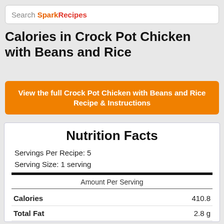Search SparkRecipes
Calories in Crock Pot Chicken with Beans and Rice
View the full Crock Pot Chicken with Beans and Rice Recipe & Instructions
|  |  |
| --- | --- |
| Nutrition Facts |  |
| Servings Per Recipe: | 5 |
| Serving Size: | 1 serving |
| Amount Per Serving |  |
| Calories | 410.8 |
| Total Fat | 2.8 g |